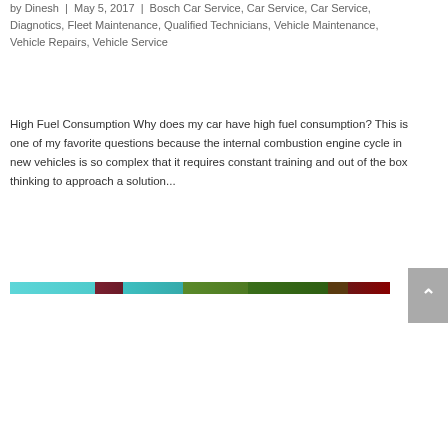by Dinesh | May 5, 2017 | Bosch Car Service, Car Service, Car Service, Diagnotics, Fleet Maintenance, Qualified Technicians, Vehicle Maintenance, Vehicle Repairs, Vehicle Service
High Fuel Consumption Why does my car have high fuel consumption? This is one of my favorite questions because the internal combustion engine cycle in new vehicles is so complex that it requires constant training and out of the box thinking to approach a solution...
[Figure (other): A horizontal color bar strip showing a multicolored gradient/pattern with cyan, dark red, teal, green, dark green, and dark red segments.]